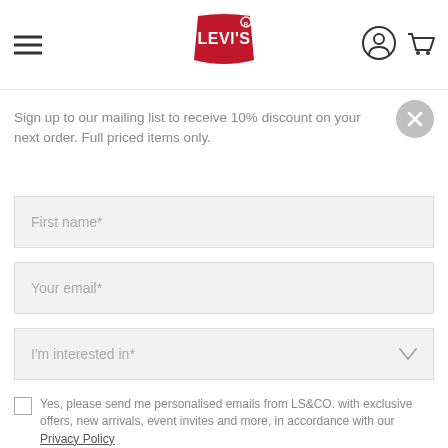[Figure (logo): Levi's red logo with hamburger menu on left, user and cart icons on right in white header]
Sign up to our mailing list to receive 10% discount on your next order. Full priced items only.
First name*
Your email*
I'm interested in*
Yes, please send me personalised emails from LS&CO. with exclusive offers, new arrivals, event invites and more, in accordance with our Privacy Policy